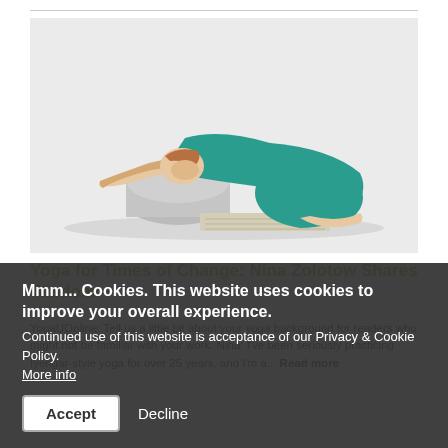[Figure (photo): Woman in teal outfit performing a child's pose yoga position on a white mat with a gray bolster pillow, white background.]
Yoga for Times of Change: Nina Zolotow Shares Wisdom
YogaUOnline: Tell us a little bit about your yoga background for readers who might not be familiar with your work. Nina: I've been seriously practicing Iyengar-style yoga for over 25 years, and I'm a... Read more
Mmm... Cookies. This website uses cookies to improve your overall experience. Continued use of this website is acceptance of our Privacy & Cookie Policy. More info
Accept  Decline